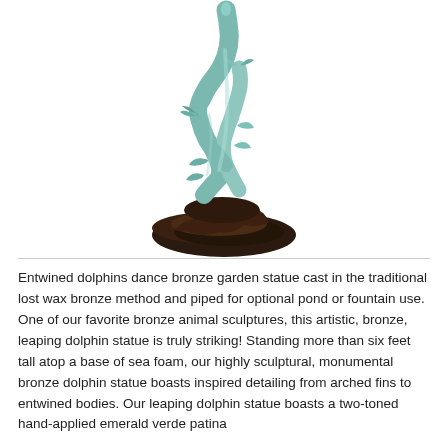[Figure (photo): A bronze sculpture of entwined dolphins leaping upward, mounted on a dark rocky sea foam base. The dolphins have a two-toned emerald verde patina finish. The statue is photographed against a white background.]
Entwined dolphins dance bronze garden statue cast in the traditional lost wax bronze method and piped for optional pond or fountain use. One of our favorite bronze animal sculptures, this artistic, bronze, leaping dolphin statue is truly striking! Standing more than six feet tall atop a base of sea foam, our highly sculptural, monumental bronze dolphin statue boasts inspired detailing from arched fins to entwined bodies. Our leaping dolphin statue boasts a two-toned hand-applied emerald verde patina